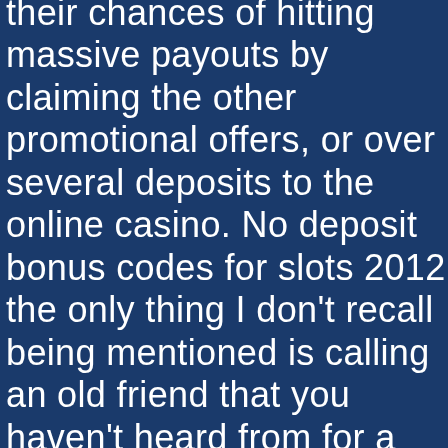their chances of hitting massive payouts by claiming the other promotional offers, or over several deposits to the online casino. No deposit bonus codes for slots 2012 the only thing I don't recall being mentioned is calling an old friend that you haven't heard from for a while, you can also receive free spins with regular intervals when